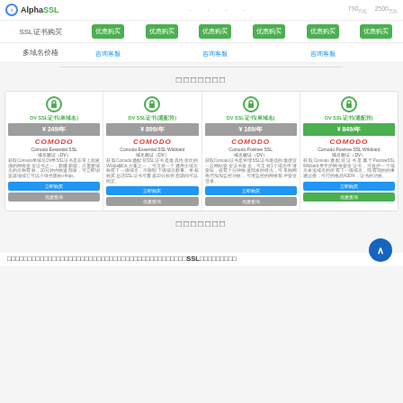[Figure (screenshot): AlphaSSL product page showing SSL certificate products table and product cards]
SSL证书购买
多域名价格
□□□□□□□
| DV SSL证书(单域名) | DV SSL证书(通配符) | DV SSL证书(单域名) | DV SSL证书(通配符) |
| --- | --- | --- | --- |
| ¥249/年 | ¥899/年 | ¥169/年 | ¥849/年 |
COMODO Comodo Essential SSL 域名验证(DV)
COMODO Comodo Essential SSL Wildcard 域名验证(DV)
COMODO Comodo Positive SSL 域名验证(DV)
COMODO Comodo Positive SSL Wildcard 域名验证(DV)
□□□□□□□
□□□□□□□□□□□□□□□□□□□□□□□□□□□□□□□□□□□□□□□□□□□□SSL□□□□□□□□□